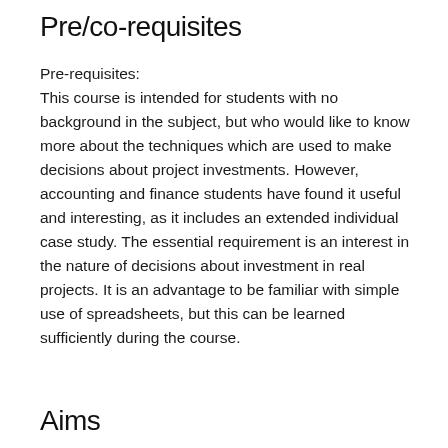Pre/co-requisites
Pre-requisites:
This course is intended for students with no background in the subject, but who would like to know more about the techniques which are used to make decisions about project investments. However, accounting and finance students have found it useful and interesting, as it includes an extended individual case study. The essential requirement is an interest in the nature of decisions about investment in real projects. It is an advantage to be familiar with simple use of spreadsheets, but this can be learned sufficiently during the course.
Aims